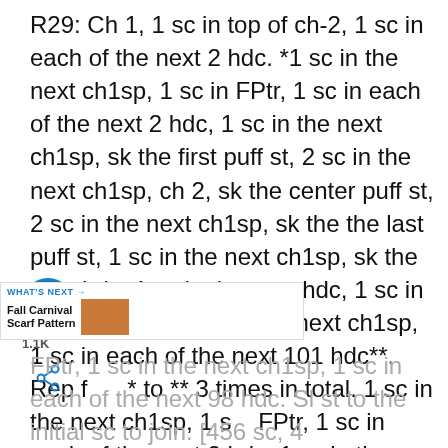R29: Ch 1, 1 sc in top of ch-2, 1 sc in each of the next 2 hdc. *1 sc in the next ch1sp, 1 sc in FPtr, 1 sc in each of the next 2 hdc, 1 sc in the next ch1sp, sk the first puff st, 2 sc in the next ch1sp, ch 2, sk the center puff st, 2 sc in the next ch1sp, sk the the last puff st, 1 sc in the next ch1sp, sk the next hdc, 1 sc in the next hdc, 1 sc in the next FPtr, 1 sc in the next ch1sp, 1 sc in each of the next 101 hdc**. Rep from * to ** 3 times in total. 1 sc in the next ch1sp, 1 sc in FPtr, 1 sc in each of the next 2 hdc, 1 sc in the next ch1sp, sk the first puff st, 2 sc in the next ch1sp, ch 2, sk the center puff st, 2 sc in the next last puff st, 1 sc in the next ch1sp, sk the next hdc, 1 sc in the next hdc, 1 sc in the next
FPtr, 1 sc in the next ch1sp, 1 sc in each of the next 98 hdc. Sl st to the initial sc to join. [456 sc, 4